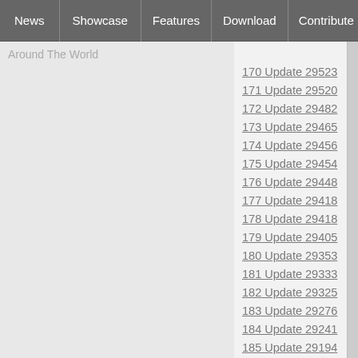News | Showcase | Features | Download | Contribute | Support
Around The World
170 Update 29523
171 Update 29520
172 Update 29482
173 Update 29465
174 Update 29456
175 Update 29454
176 Update 29448
177 Update 29418
178 Update 29418
179 Update 29405
180 Update 29353
181 Update 29333
182 Update 29325
183 Update 29276
184 Update 29241
185 Update 29194
186 Update 29165
187 Update 29143
188 Update 29090
189 Update 29040
190 Update 29039
191 Update 29025